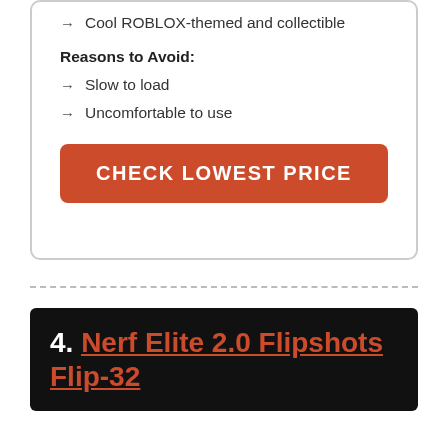→ Cool ROBLOX-themed and collectible
Reasons to Avoid:
→ Slow to load
→ Uncomfortable to use
CHECK LOWEST PRICE
4. Nerf Elite 2.0 Flipshots Flip-32
A Action Nerf Gun With